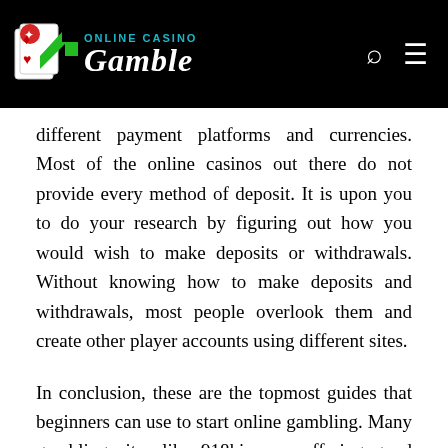ONLINE CASINO Gamble
different payment platforms and currencies. Most of the online casinos out there do not provide every method of deposit. It is upon you to do your research by figuring out how you would wish to make deposits or withdrawals. Without knowing how to make deposits and withdrawals, most people overlook them and create other player accounts using different sites.
In conclusion, these are the topmost guides that beginners can use to start online gambling. Many gambling sites like 918kiss are offering good bonuses for new players. But, remember to play